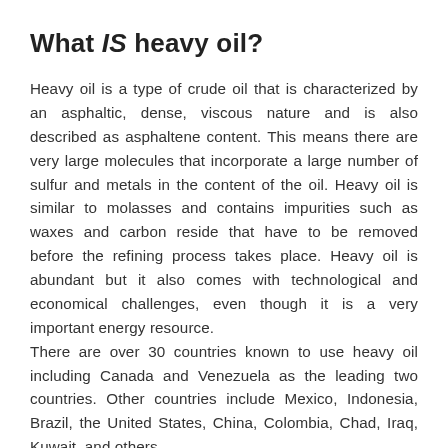What IS heavy oil?
Heavy oil is a type of crude oil that is characterized by an asphaltic, dense, viscous nature and is also described as asphaltene content. This means there are very large molecules that incorporate a large number of sulfur and metals in the content of the oil. Heavy oil is similar to molasses and contains impurities such as waxes and carbon reside that have to be removed before the refining process takes place. Heavy oil is abundant but it also comes with technological and economical challenges, even though it is a very important energy resource.
There are over 30 countries known to use heavy oil including Canada and Venezuela as the leading two countries. Other countries include Mexico, Indonesia, Brazil, the United States, China, Colombia, Chad, Iraq, Kuwait, and others.
Heavy oil originated millions of years ago with other plant